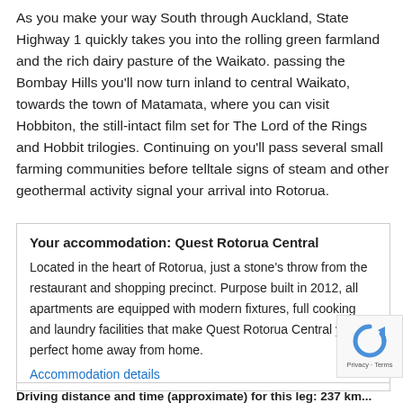As you make your way South through Auckland, State Highway 1 quickly takes you into the rolling green farmland and the rich dairy pasture of the Waikato. passing the Bombay Hills you'll now turn inland to central Waikato, towards the town of Matamata, where you can visit Hobbiton, the still-intact film set for The Lord of the Rings and Hobbit trilogies. Continuing on you'll pass several small farming communities before telltale signs of steam and other geothermal activity signal your arrival into Rotorua.
Your accommodation: Quest Rotorua Central
Located in the heart of Rotorua, just a stone's throw from the restaurant and shopping precinct. Purpose built in 2012, all apartments are equipped with modern fixtures, full cooking and laundry facilities that make Quest Rotorua Central your perfect home away from home.
Accommodation details
Driving distance and time (approximate) for this leg: 237 kms